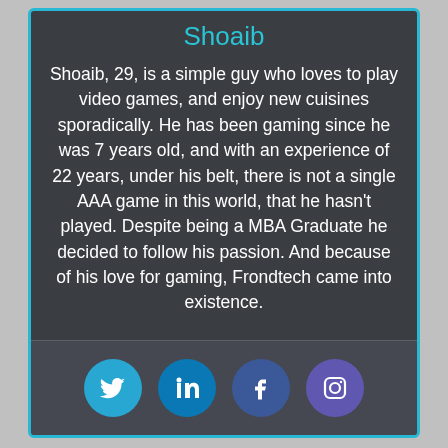Shoaib
Shoaib, 29, is a simple guy who loves to play video games, and enjoy new cuisines sporadically. He has been gaming since he was 7 years old, and with an experience of 22 years, under his belt, there is not a single AAA game in this world, that he hasn't played. Despite being a MBA Graduate he decided to follow his passion. And because of his love for gaming, Frondtech came into existence.
[Figure (infographic): Four social media icons in circles: Twitter (blue), LinkedIn (dark blue), Facebook (dark blue-purple), Instagram (purple)]